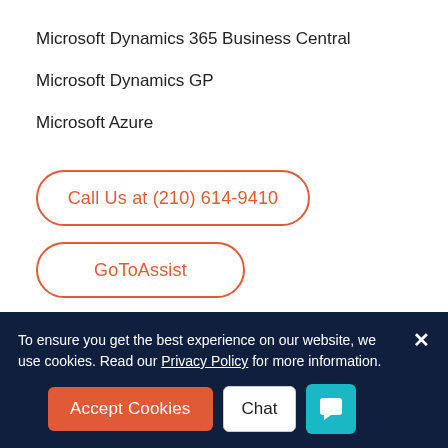Microsoft Dynamics 365 Business Central
Microsoft Dynamics GP
Microsoft Azure
Call Us at (210) 614-9410
GoToAssist
To ensure you get the best experience on our website, we use cookies. Read our Privacy Policy for more information.
Accept Cookies
Chat